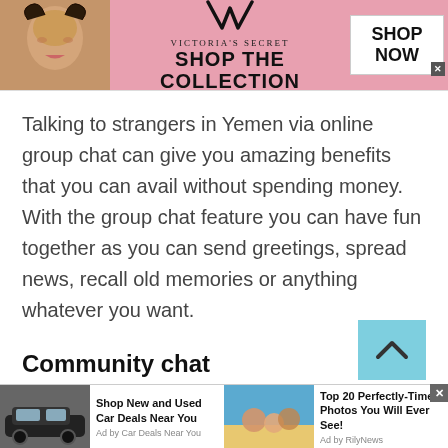[Figure (screenshot): Victoria's Secret advertisement banner with model on left, VS logo and 'SHOP THE COLLECTION' text in center, and 'SHOP NOW' button on right]
Talking to strangers in Yemen via online group chat can give you amazing benefits that you can avail without spending money. With the group chat feature you can have fun together as you can send greetings, spread news, recall old memories or anything whatever you want.
Community chat
[Figure (screenshot): Bottom advertisement bar with two ad items: 'Shop New and Used Car Deals Near You' (Ad by Car Deals Near You) with car image, and 'Top 20 Perfectly-Time Photos You Will Ever See!' (Ad by RilyNews) with beach photo]